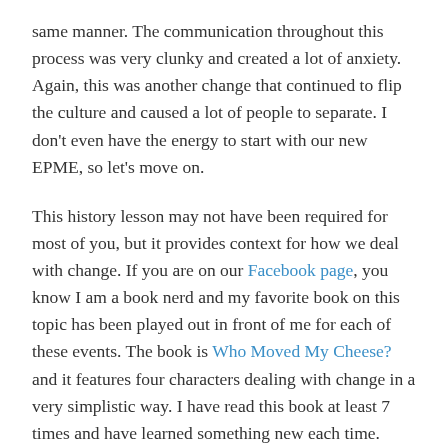same manner. The communication throughout this process was very clunky and created a lot of anxiety. Again, this was another change that continued to flip the culture and caused a lot of people to separate. I don't even have the energy to start with our new EPME, so let's move on.
This history lesson may not have been required for most of you, but it provides context for how we deal with change. If you are on our Facebook page, you know I am a book nerd and my favorite book on this topic has been played out in front of me for each of these events. The book is Who Moved My Cheese? and it features four characters dealing with change in a very simplistic way. I have read this book at least 7 times and have learned something new each time.
Hem, Haw, Sniff and Scurry are two mice and two mice-sized people trapped in a maze hunting for cheese. The